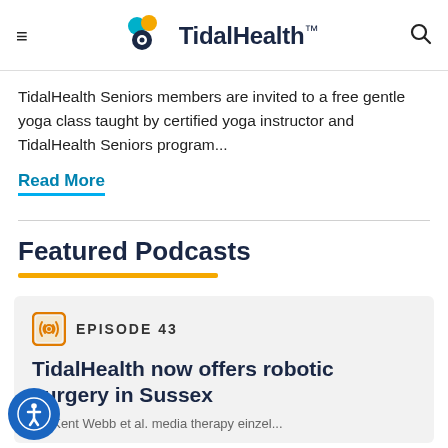TidalHealth
TidalHealth Seniors members are invited to a free gentle yoga class taught by certified yoga instructor and TidalHealth Seniors program...
Read More
Featured Podcasts
EPISODE 43
TidalHealth now offers robotic surgery in Sussex
Dr. Kent Webb et al. media therapy einzel...